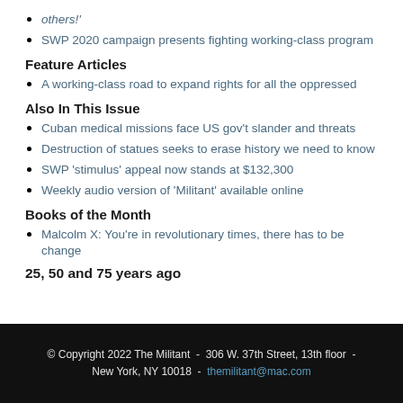others!'
SWP 2020 campaign presents fighting working-class program
Feature Articles
A working-class road to expand rights for all the oppressed
Also In This Issue
Cuban medical missions face US gov't slander and threats
Destruction of statues seeks to erase history we need to know
SWP 'stimulus' appeal now stands at $132,300
Weekly audio version of 'Militant' available online
Books of the Month
Malcolm X: You're in revolutionary times, there has to be change
25, 50 and 75 years ago
© Copyright 2022 The Militant  -  306 W. 37th Street, 13th floor  -  New York, NY 10018  -  themilitant@mac.com